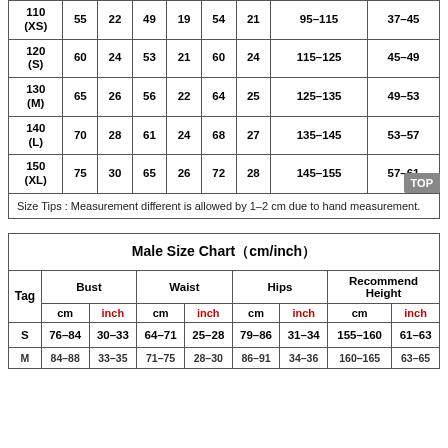|  | cm | inch | cm | inch | cm | inch | cm | inch |
| --- | --- | --- | --- | --- | --- | --- | --- | --- |
| 110 (XS) | 55 | 22 | 49 | 19 | 54 | 21 | 95–115 | 37–45 |
| 120 (S) | 60 | 24 | 53 | 21 | 60 | 24 | 115–125 | 45–49 |
| 130 (M) | 65 | 26 | 56 | 22 | 64 | 25 | 125–135 | 49–53 |
| 140 (L) | 70 | 28 | 61 | 24 | 68 | 27 | 135–145 | 53–57 |
| 150 (XL) | 75 | 30 | 65 | 26 | 72 | 28 | 145–155 | 57–61 |
Size Tips : Measurement different is allowed by 1–2 cm due to hand measurement.
| Male Size Chart ( cm/inch ) |
| --- |
| Tag | Bust cm | Bust inch | Waist cm | Waist inch | Hips cm | Hips inch | Recommend Height cm | Recommend Height inch |
| S | 76–84 | 30–33 | 64–71 | 25–28 | 79–86 | 31–34 | 155–160 | 61–63 |
| M | 84–88 | 33–35 | 71–75 | 28–30 | 86–91 | 34–36 | 160–165 | 63–65 |